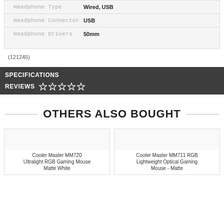| Specification | Value |
| --- | --- |
| Headphone Type | Wired, USB |
| Headphone Connector | USB |
| Headphone Drivers | 50mm |
(121245)
SPECIFICATIONS
REVIEWS ☆ ☆ ☆ ☆ ☆
OTHERS ALSO BOUGHT
Cooler Master MM720 Ultralight RGB Gaming Mouse Matte White
Cooler Master MM711 RGB Lightweight Optical Gaming Mouse - Matte